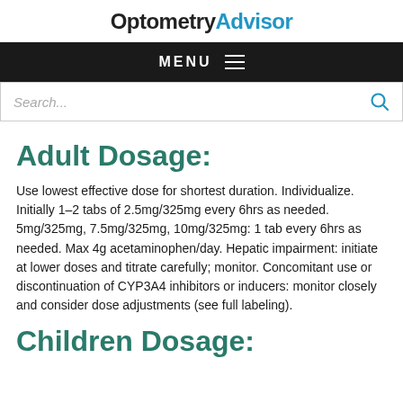OptometryAdvisor
MENU
Search...
Adult Dosage:
Use lowest effective dose for shortest duration. Individualize. Initially 1–2 tabs of 2.5mg/325mg every 6hrs as needed. 5mg/325mg, 7.5mg/325mg, 10mg/325mg: 1 tab every 6hrs as needed. Max 4g acetaminophen/day. Hepatic impairment: initiate at lower doses and titrate carefully; monitor. Concomitant use or discontinuation of CYP3A4 inhibitors or inducers: monitor closely and consider dose adjustments (see full labeling).
Children Dosage: